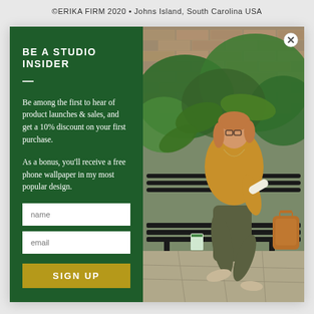©ERIKA FIRM 2020 • Johns Island, South Carolina USA
BE A STUDIO INSIDER
Be among the first to hear of product launches & sales, and get a 10% discount on your first purchase.
As a bonus, you'll receive a free phone wallpaper in my most popular design.
[Figure (photo): Woman with glasses wearing a mustard yellow top seated on a black iron bench outdoors, surrounded by lush green plants and a brick wall, holding a rolled paper/document and a leather bag beside her]
name
email
SIGN UP